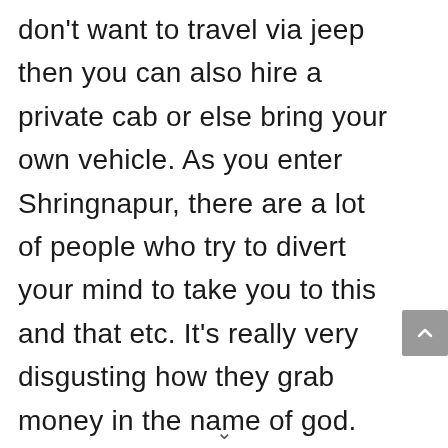don't want to travel via jeep then you can also hire a private cab or else bring your own vehicle. As you enter Shringnapur, there are a lot of people who try to divert your mind to take you to this and that etc. It's really very disgusting how they grab money in the name of god.